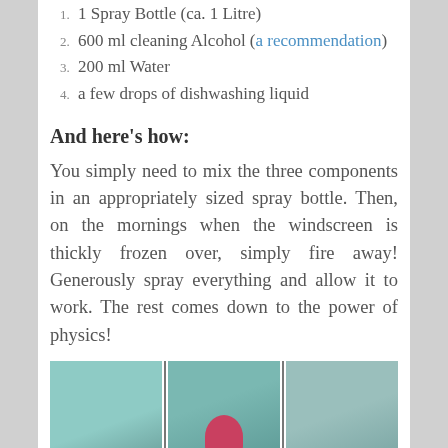1. 1 Spray Bottle (ca. 1 Litre)
2. 600 ml cleaning Alcohol (a recommendation)
3. 200 ml Water
4. a few drops of dishwashing liquid
And here's how:
You simply need to mix the three components in an appropriately sized spray bottle. Then, on the mornings when the windscreen is thickly frozen over, simply fire away! Generously spray everything and allow it to work. The rest comes down to the power of physics!
[Figure (photo): Three-panel photo strip showing a frozen windscreen (left), a hand wiping with a mitt (center), and a cleared windscreen (right).]